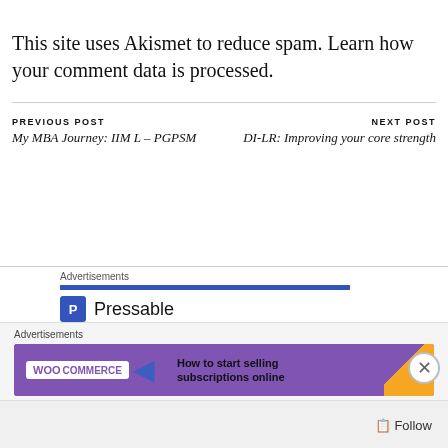This site uses Akismet to reduce spam. Learn how your comment data is processed.
PREVIOUS POST
My MBA Journey: IIM L – PGPSM
NEXT POST
DI-LR: Improving your core strength
Advertisements
[Figure (logo): Pressable logo with blue bar and dotted line]
The Platform
Advertisements
[Figure (infographic): WooCommerce advertisement banner: How to start selling subscriptions online]
Follow